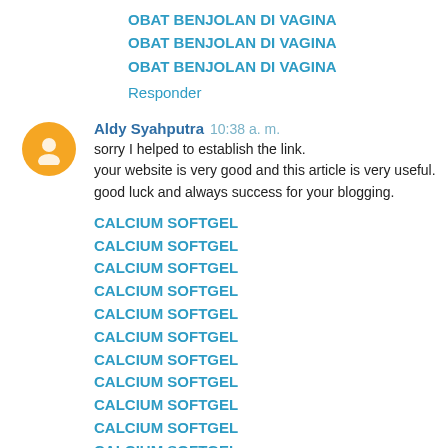OBAT BENJOLAN DI VAGINA
OBAT BENJOLAN DI VAGINA
OBAT BENJOLAN DI VAGINA
Responder
Aldy Syahputra  10:38 a. m.
sorry I helped to establish the link.
your website is very good and this article is very useful.
good luck and always success for your blogging.
CALCIUM SOFTGEL
CALCIUM SOFTGEL
CALCIUM SOFTGEL
CALCIUM SOFTGEL
CALCIUM SOFTGEL
CALCIUM SOFTGEL
CALCIUM SOFTGEL
CALCIUM SOFTGEL
CALCIUM SOFTGEL
CALCIUM SOFTGEL
CALCIUM SOFTGEL